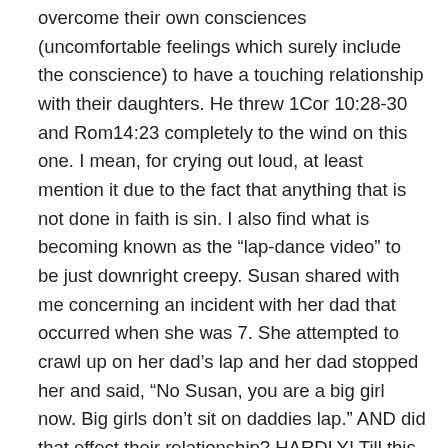overcome their own consciences (uncomfortable feelings which surely include the conscience) to have a touching relationship with their daughters. He threw 1Cor 10:28-30 and Rom14:23 completely to the wind on this one. I mean, for crying out loud, at least mention it due to the fact that anything that is not done in faith is sin. I also find what is becoming known as the “lap-dance video” to be just downright creepy. Susan shared with me concerning an incident with her dad that occurred when she was 7. She attempted to crawl up on her dad’s lap and her dad stopped her and said, “No Susan, you are a big girl now. Big girls don’t sit on daddies lap.” AND did that effect their relationship? HARDLY! Till this day, he is her hero bar none save Jesus Christ.
Furthermore, and don’t miss this, the anti-pedophile folks have to be going totally nuts on this one. From Susan’s